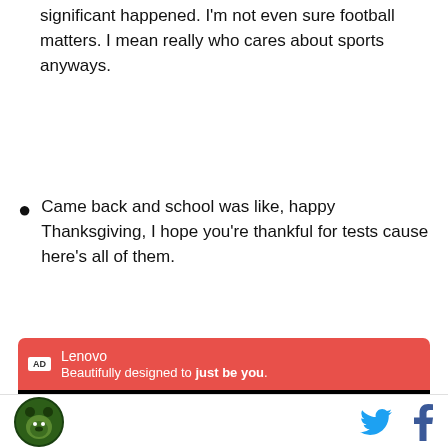significant happened. I'm not even sure football matters. I mean really who cares about sports anyways.
Came back and school was like, happy Thanksgiving, I hope you're thankful for tests cause here's all of them.
[Figure (screenshot): Lenovo advertisement with red header showing 'Lenovo - Beautifully designed to just be you.' with AD badge, followed by black video area showing error message: 'The media could not be loaded, either because the server or network failed or because the format is not' with a play button icon overlay]
Website footer with green bear logo on left and Twitter and Facebook social icons on right